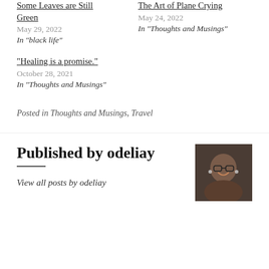Some Leaves are Still Green
May 29, 2022
In "black life"
The Art of Plane Crying
May 24, 2022
In "Thoughts and Musings"
“Healing is a promise.”
October 28, 2021
In "Thoughts and Musings"
Posted in Thoughts and Musings, Travel
Published by odeliay
[Figure (photo): Profile photo of odeliay, a Black woman smiling, wearing glasses and earrings, seated in a car.]
View all posts by odeliay